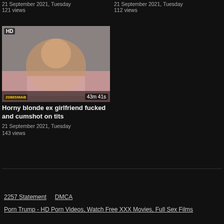21 September 2021, Tuesday
121 views
21 September 2021, Tuesday
112 views
[Figure (photo): Thumbnail image of adult video with HD badge and 43m 41s duration, branding logo at bottom left]
Horny blonde ex girlfriend fucked and cumshot on tits
21 September 2021, Tuesday
143 views
2257 Statement   DMCA
Porn Trump - HD Porn Videos, Watch Free XXX Movies, Full Sex Films